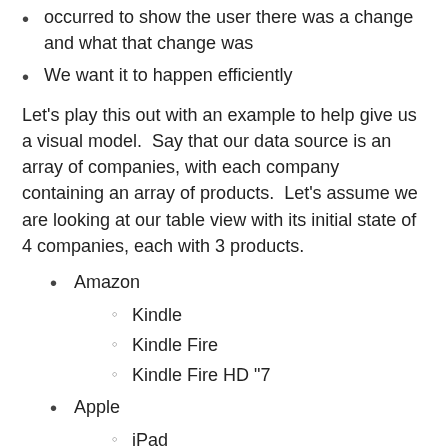occurred to show the user there was a change and what that change was
We want it to happen efficiently
Let's play this out with an example to help give us a visual model.  Say that our data source is an array of companies, with each company containing an array of products.  Let's assume we are looking at our table view with its initial state of 4 companies, each with 3 products.
Amazon
Kindle
Kindle Fire
Kindle Fire HD "7
Apple
iPad
iPhone
iPod
Blackberry RIM
Blackberry OS